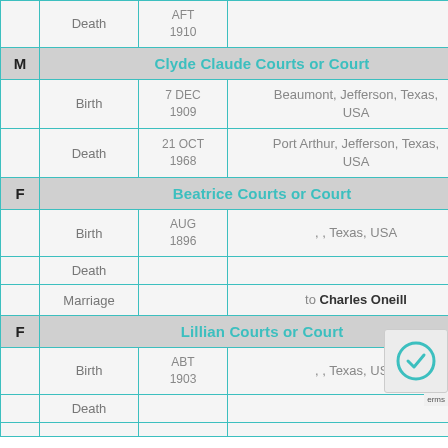| Gender | Event | Date | Place |
| --- | --- | --- | --- |
|  | Death | AFT 1910 |  |
| M | Clyde Claude Courts or Court |  |  |
|  | Birth | 7 DEC 1909 | Beaumont, Jefferson, Texas, USA |
|  | Death | 21 OCT 1968 | Port Arthur, Jefferson, Texas, USA |
| F | Beatrice Courts or Court |  |  |
|  | Birth | AUG 1896 | , , Texas, USA |
|  | Death |  |  |
|  | Marriage |  | to Charles Oneill |
| F | Lillian Courts or Court |  |  |
|  | Birth | ABT 1903 | , , Texas, USA |
|  | Death |  |  |